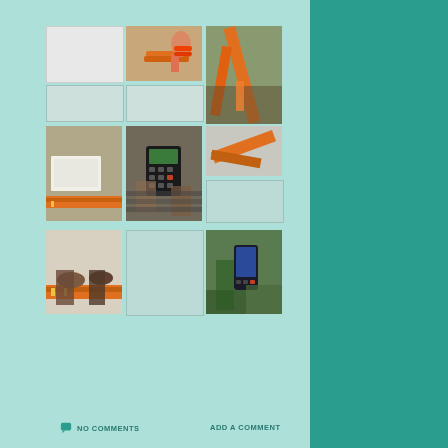[Figure (photo): Collection of classroom activity photos showing students measuring with orange tape/ruler on floor, using calculators, and working with scissors and measuring tools]
NO COMMENTS
ADD A COMMENT